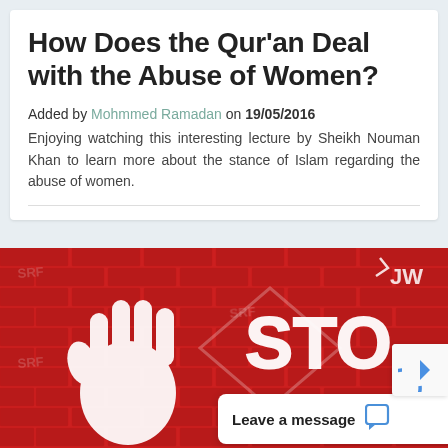How Does the Qur'an Deal with the Abuse of Women?
Added by Mohmmed Ramadan on 19/05/2016
Enjoying watching this interesting lecture by Sheikh Nouman Khan to learn more about the stance of Islam regarding the abuse of women.
[Figure (illustration): Video thumbnail showing a red brick wall with a white painted hand and the word STOP in graffiti style, with a video play button overlay and a Leave a message chat widget in the corner.]